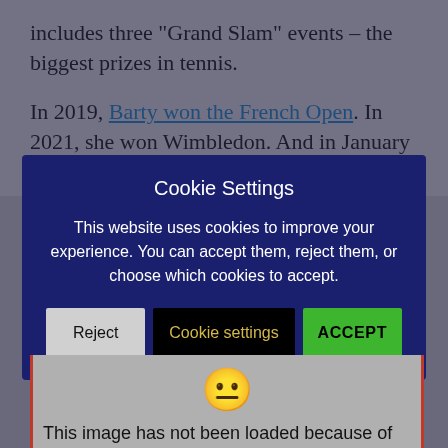includes three “Grand Slam” events – the biggest prizes in tennis.
In 2019, Barty won the French Open. In 2021, she won Wimbledon. And in January of this year, she won the
Cookie Settings
This website uses cookies to improve your experience. You can accept them, reject them, or choose which cookies to accept.
Reject | Cookie settings | ACCEPT
[Figure (illustration): Neutral/confused emoji face (yellow circle with neutral expression)]
This image has not been loaded because of your cookie choices. To view the content, you can accept ‘Non-necessary’ cookies.